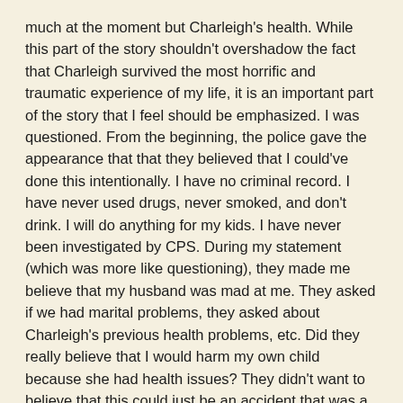much at the moment but Charleigh's health. While this part of the story shouldn't overshadow the fact that Charleigh survived the most horrific and traumatic experience of my life, it is an important part of the story that I feel should be emphasized.  I was questioned.  From the beginning, the police gave the appearance that that they believed that I could've done this intentionally. I have no criminal record. I have never used drugs, never smoked, and don't drink. I will do anything for my kids. I have never been investigated by CPS. During my statement (which was more like questioning), they made me believe that my husband was mad at me. They asked if we had marital problems, they asked about Charleigh's previous health problems, etc. Did they really believe that I would harm my own child because she had health issues?  They didn't want to believe that this could just be an accident that was a result of a broken routine, added stress, an autopilot mind, etc.  They made me out to be a criminal in which, in my mind, I was not. I was arrested and